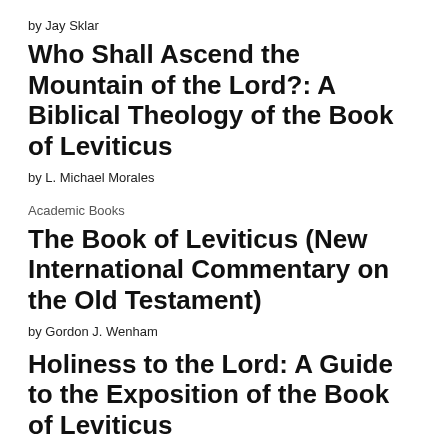by Jay Sklar
Who Shall Ascend the Mountain of the Lord?: A Biblical Theology of the Book of Leviticus
by L. Michael Morales
Academic Books
The Book of Leviticus (New International Commentary on the Old Testament)
by Gordon J. Wenham
Holiness to the Lord: A Guide to the Exposition of the Book of Leviticus
by Allen P. Ross